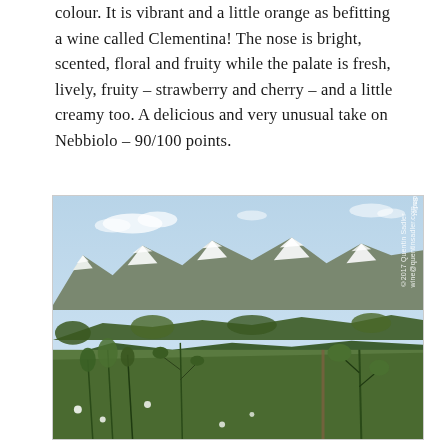colour. It is vibrant and a little orange as befitting a wine called Clementina! The nose is bright, scented, floral and fruity while the palate is fresh, lively, fruity – strawberry and cherry – and a little creamy too. A delicious and very unusual take on Nebbiolo – 90/100 points.
[Figure (photo): Landscape photograph showing snow-capped mountains in the background under a blue sky with light clouds, rolling forested hills in the middle distance, and vineyard vegetation in the foreground. Watermark reads: ©2017 Quentin Sadler wine@quentinsadler.com]